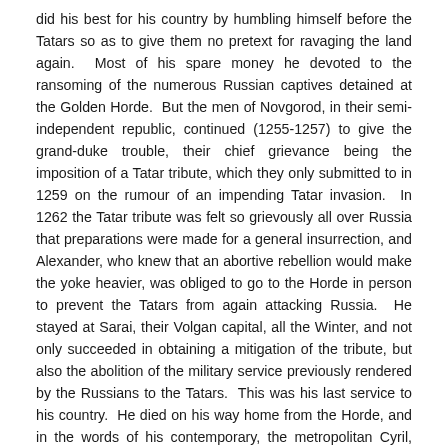did his best for his country by humbling himself before the Tatars so as to give them no pretext for ravaging the land again.  Most of his spare money he devoted to the ransoming of the numerous Russian captives detained at the Golden Horde.  But the men of Novgorod, in their semi-independent republic, continued (1255-1257) to give the grand-duke trouble, their chief grievance being the imposition of a Tatar tribute, which they only submitted to in 1259 on the rumour of an impending Tatar invasion.  In 1262 the Tatar tribute was felt so grievously all over Russia that preparations were made for a general insurrection, and Alexander, who knew that an abortive rebellion would make the yoke heavier, was obliged to go to the Horde in person to prevent the Tatars from again attacking Russia.  He stayed at Sarai, their Volgan capital, all the Winter, and not only succeeded in obtaining a mitigation of the tribute, but also the abolition of the military service previously rendered by the Russians to the Tatars.  This was his last service to his country.  He died on his way home from the Horde, and in the words of his contemporary, the metropolitan Cyril, “with him the sun of Russia set.” The Orthodox Church has canonized the ruler who gave his whole life for Russia and the Orthodox faith.  His relics, discovered in 1380, were in 1724 transferred by Peter the Great from Vladimir to St. Petersburg.